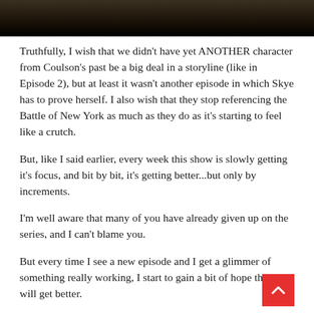[Figure (photo): Dark image bar at the top of the page, showing a dark brownish-black gradient scene.]
Truthfully, I wish that we didn't have yet ANOTHER character from Coulson's past be a big deal in a storyline (like in Episode 2), but at least it wasn't another episode in which Skye has to prove herself. I also wish that they stop referencing the Battle of New York as much as they do as it's starting to feel like a crutch.
But, like I said earlier, every week this show is slowly getting it's focus, and bit by bit, it's getting better...but only by increments.
I'm well aware that many of you have already given up on the series, and I can't blame you.
But every time I see a new episode and I get a glimmer of something really working, I start to gain a bit of hope that it will get better.
What can I say, I'm an optimist. I'm just going to wait right here